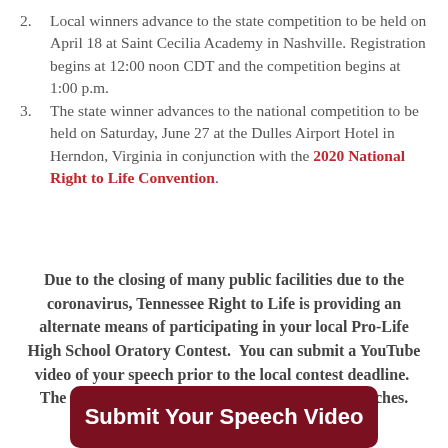2. Local winners advance to the state competition to be held on April 18 at Saint Cecilia Academy in Nashville. Registration begins at 12:00 noon CDT and the competition begins at 1:00 p.m.
3. The state winner advances to the national competition to be held on Saturday, June 27 at the Dulles Airport Hotel in Herndon, Virginia in conjunction with the 2020 National Right to Life Convention.
Due to the closing of many public facilities due to the coronavirus, Tennessee Right to Life is providing an alternate means of participating in your local Pro-Life High School Oratory Contest.  You can submit a YouTube video of your speech prior to the local contest deadline.  The same contest rules apply to live or video speeches.
Submit Your Speech Video